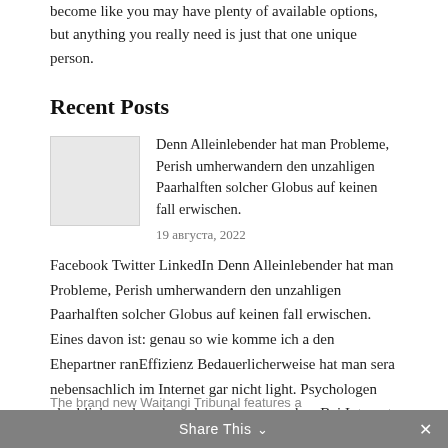become like you may have plenty of available options, but anything you really need is just that one unique person.
Recent Posts
[Figure (photo): Thumbnail image placeholder (grey box)]
Denn Alleinlebender hat man Probleme, Perish umherwandern den unzahligen Paarhalften solcher Globus auf keinen fall erwischen.
19 августа, 2022
Facebook Twitter LinkedIn Denn Alleinlebender hat man Probleme, Perish umherwandern den unzahligen Paarhalften solcher Globus auf keinen fall erwischen. Eines davon ist: genau so wie komme ich a den Ehepartner ranEffizienz Bedauerlicherweise hat man sera nebensachlich im Internet gar nicht light. Psychologen uberblicken, dass das schone Augen machen Bei Internet Singleborse wirklich beim Bescheid des [...]Read More »
Share This   ✕